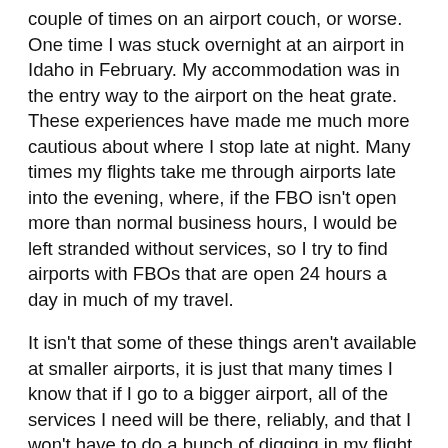couple of times on an airport couch, or worse. One time I was stuck overnight at an airport in Idaho in February. My accommodation was in the entry way to the airport on the heat grate. These experiences have made me much more cautious about where I stop late at night. Many times my flights take me through airports late into the evening, where, if the FBO isn't open more than normal business hours, I would be left stranded without services, so I try to find airports with FBOs that are open 24 hours a day in much of my travel.
It isn't that some of these things aren't available at smaller airports, it is just that many times I know that if I go to a bigger airport, all of the services I need will be there, reliably, and that I won't have to do a bunch of digging in my flight planning efforts to ensure access to what I need. A significant amount of the time my flight planning is, pardon the pun, on the fly. The time it would take me to figure out if a smaller airport had these services just isn't something that I want to spend when I finish a meeting in Oklahoma City and am ready to get into the air flying back to home in Michigan. So instead of spending this time, I just pick an airport at a larger town, typically towered, somewhere